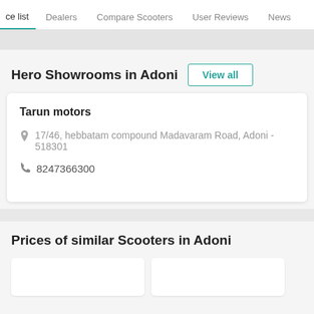ce list | Dealers | Compare Scooters | User Reviews | News
Hero Showrooms in Adoni
View all
Tarun motors
17/46, hebbatam compound Madavaram Road, Adoni - 518301
8247366300
Prices of similar Scooters in Adoni